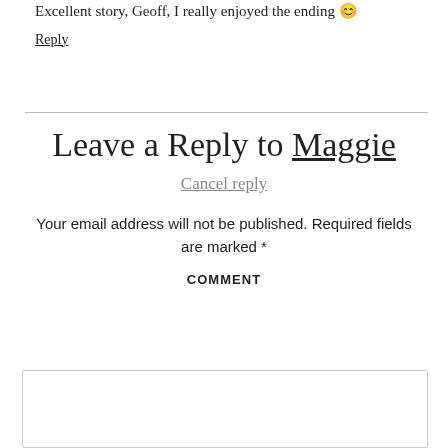Excellent story, Geoff, I really enjoyed the ending 😊
Reply
Leave a Reply to Maggie
Cancel reply
Your email address will not be published. Required fields are marked *
COMMENT